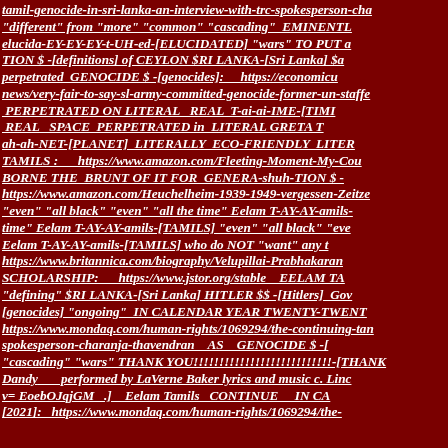tamil-genocide-in-sri-lanka-an-interview-with-trc-spokesperson-cha "different" from "more" "common" "cascading" EMINENTL elucida-EY-EY-EY-t-UH-ed-[ELUCIDATED] "wars" TO PUT a TION $ -[definitions] of CEYLON $RI LANKA-[Sri Lanka] $a perpetrated GENOCIDE $ -[genocides]: https://economicu news/very-fair-to-say-sl-army-committed-genocide-former-un-staffe PERPETRATED ON LITERAL REAL T-ai-ai-IME-[TIMI REAL SPACE PERPETRATED in LITERAL GRETA T ah-ah-NET-[PLANET] LITERALLY ECO-FRIENDLY LITER TAMILS : https://www.amazon.com/Fleeting-Moment-My-Cou BORNE THE BRUNT OF IT FOR GENERA-shuh-TION $ - https://www.amazon.com/Heuchelheim-1939-1949-vergessen-Zeitze "even" "all black" "even" "all the time" Eelam T-AY-AY-amils- time" Eelam T-AY-AY-amils-[TAMILS] "even" "all black" "eve Eelam T-AY-AY-amils-[TAMILS] who do NOT "want" any https://www.britannica.com/biography/Velupillai-Prabhakaran SCHOLARSHIP: https://www.jstor.org/stable EELAM TA "defining" $RI LANKA-[Sri Lanka] HITLER $$ -[Hitlers] Gov [genocides] "ongoing" IN CALENDAR YEAR TWENTY-TWENI https://www.mondaq.com/human-rights/1069294/the-continuing-tan spokesperson-charanja-thavendran AS GENOCIDE $ -[ "cascading" "wars" THANK YOU!!!!!!!!!!!!!!!!!!!!!!!!!!!!-[THAN Dandy _ performed by LaVerne Baker lyrics and music c. Linc v= EoebOJqjGM .] Eelam Tamils _CONTINUE_ _IN C [2021]: https://www.mondaq.com/human-rights/1069294/the-